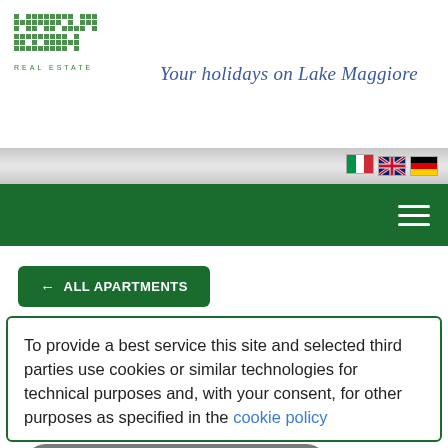[Figure (logo): Marlis Zoem Real Estate logo with pixel/matrix style lettering in green]
Your holidays on Lake Maggiore
[Figure (infographic): Language selection flags: Italian, UK, German]
[Figure (infographic): Hamburger menu icon on dark green navigation bar]
← ALL APARTMENTS
To provide a best service this site and selected third parties use cookies or similar technologies for technical purposes and, with your consent, for other purposes as specified in the cookie policy
Learn more and customize
Reject
Accept